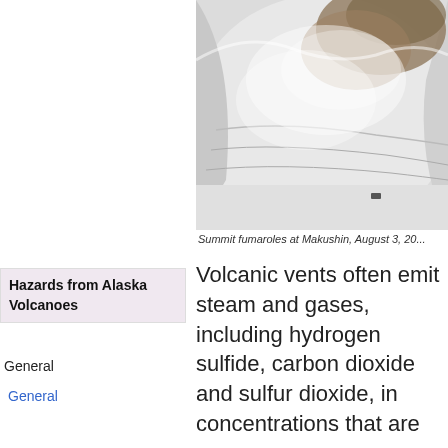[Figure (photo): Summit fumaroles at Makushin volcano, showing steam and gas venting from a snow-covered crater rim with brown volcanic gases visible]
Summit fumaroles at Makushin, August 3, 20...
Volcanic vents often emit steam and gases, including hydrogen sulfide, carbon dioxide and sulfur dioxide, in concentrations that are
Hazards from Alaska Volcanoes
General
General